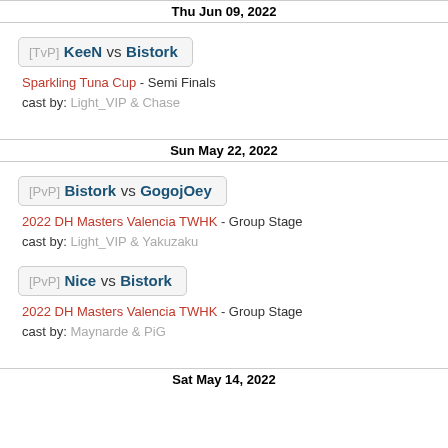Thu Jun 09, 2022
[TvP] KeeN vs Bistork
Sparkling Tuna Cup - Semi Finals
cast by: Light_VIP & Chase
Sun May 22, 2022
[PvP] Bistork vs GogojOey
2022 DH Masters Valencia TWHK - Group Stage
cast by: Light_VIP & Yakuzaku
[PvP] Nice vs Bistork
2022 DH Masters Valencia TWHK - Group Stage
cast by: Maynarde & PiG
Sat May 14, 2022